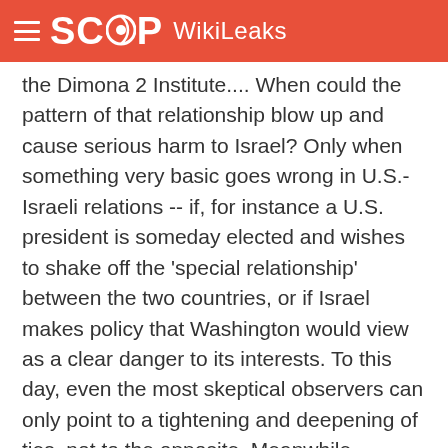SCOOP WikiLeaks
the Dimona 2 Institute.... When could the pattern of that relationship blow up and cause serious harm to Israel? Only when something very basic goes wrong in U.S.-Israeli relations -- if, for instance a U.S. president is someday elected and wishes to shake off the 'special relationship' between the two countries, or if Israel makes policy that Washington would view as a clear danger to its interests. To this day, even the most skeptical observers can only point to a tightening and deepening of ties, not to the opposite. Meanwhile, Vanunu had better stop blabbing, but it is doubtful whether that eccentric guy actually represents a strategic threat.... The Iranian bomb worries Bush much